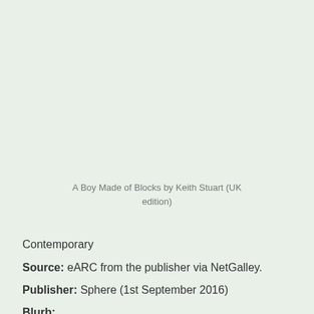A Boy Made of Blocks by Keith Stuart (UK edition)
Contemporary
Source: eARC from the publisher via NetGalley.
Publisher: Sphere (1st September 2016)
Blurb: